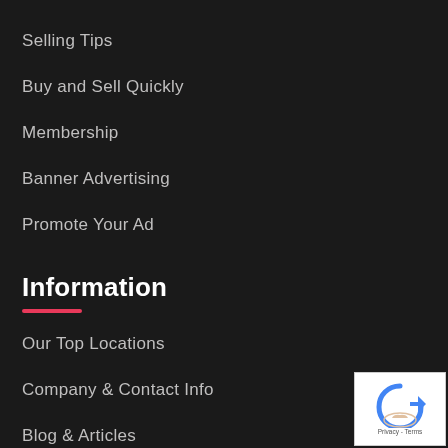Selling Tips
Buy and Sell Quickly
Membership
Banner Advertising
Promote Your Ad
Information
Our Top Locations
Company & Contact Info
Blog & Articles
Sitemap
Terms of Service
[Figure (logo): reCAPTCHA badge with blue arrow icon and Privacy - Terms text]